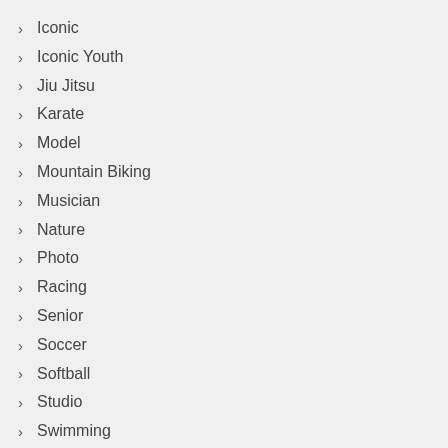Iconic
Iconic Youth
Jiu Jitsu
Karate
Model
Mountain Biking
Musician
Nature
Photo
Racing
Senior
Soccer
Softball
Studio
Swimming
Track